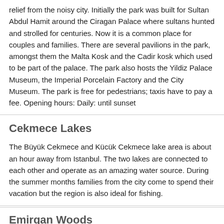relief from the noisy city. Initially the park was built for Sultan Abdul Hamit around the Ciragan Palace where sultans hunted and strolled for centuries. Now it is a common place for couples and families. There are several pavilions in the park, amongst them the Malta Kosk and the Cadir kosk which used to be part of the palace. The park also hosts the Yildiz Palace Museum, the Imperial Porcelain Factory and the City Museum. The park is free for pedestrians; taxis have to pay a fee. Opening hours: Daily: until sunset
Cekmece Lakes
The Büyük Cekmece and Kücük Cekmece lake area is about an hour away from Istanbul. The two lakes are connected to each other and operate as an amazing water source. During the summer months families from the city come to spend their vacation but the region is also ideal for fishing.
Emirgan Woods
[Figure (photo): Photo of tree trunks and branches viewed from below against a light sky, in a wooded area]